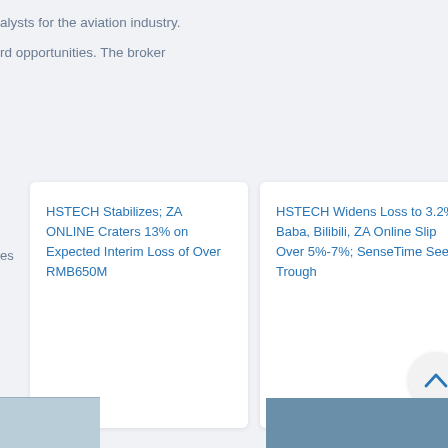alysts for the aviation industry.
rd opportunities. The broker
es
HSTECH Stabilizes; ZA ONLINE Craters 13% on Expected Interim Loss of Over RMB650M
HSTECH Widens Loss to 3.2%; Baba, Bilibili, ZA Online Slip Over 5%-7%; SenseTime Seeks Trough
[Figure (illustration): Upward chevron arrow in a circular button]
[Figure (photo): Partial photo bottom left, appears to show building/interior]
[Figure (photo): Partial photo bottom right, appears to show outdoor/sky scene]